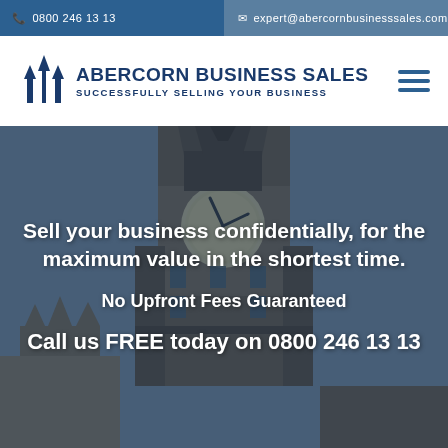0800 246 13 13 | expert@abercornbusinesssales.com
[Figure (logo): Abercorn Business Sales logo with upward arrows icon and text 'ABERCORN BUSINESS SALES / SUCCESSFULLY SELLING YOUR BUSINESS']
[Figure (photo): Background photo of Big Ben clock tower with dark blue overlay, with hero text overlaid]
Sell your business confidentially, for the maximum value in the shortest time.
No Upfront Fees Guaranteed
Call us FREE today on 0800 246 13 13